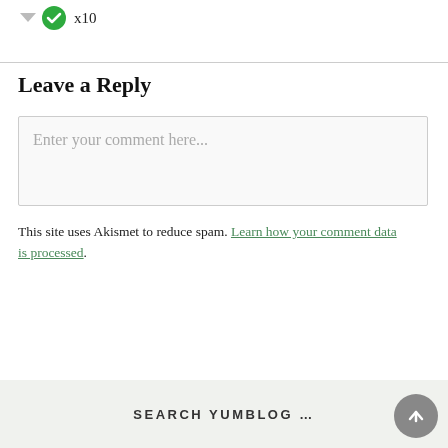[Figure (illustration): Down arrow icon and green checkmark circle icon followed by text 'x10']
Leave a Reply
[Figure (screenshot): Comment text input box with placeholder text 'Enter your comment here...']
This site uses Akismet to reduce spam. Learn how your comment data is processed.
SEARCH YUMBLOG ...